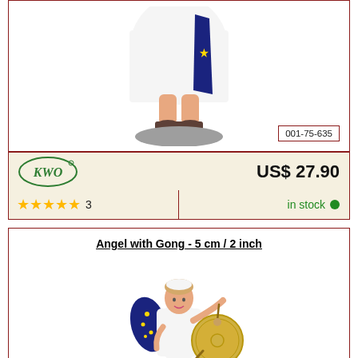[Figure (photo): Bottom portion of an angel figurine wearing white robe and blue garment with gold star, standing on a grey base, with brown shoes. Product code 001-75-635 badge in bottom right.]
001-75-635
[Figure (logo): KWO brand logo in green oval with cursive KWO text]
US$ 27.90
★★★★★ 3
in stock
Angel with Gong - 5 cm / 2 inch
[Figure (photo): Small angel figurine with white robe, blue wings with gold stars, holding a brass gong with a mallet]